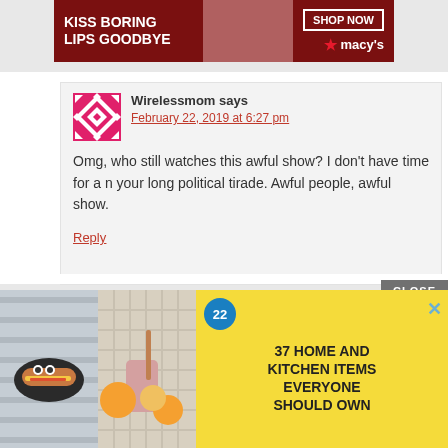[Figure (photo): Macy's advertisement banner: dark red background with woman wearing red lipstick, text 'KISS BORING LIPS GOODBYE', 'SHOP NOW' button and Macy's star logo]
Wirelessmom says
February 22, 2019 at 6:27 pm
Omg, who still watches this awful show? I don't have time for a n your long political tirade. Awful people, awful show.
Reply
[Figure (photo): Advertisement with yellow background showing food and kitchen items images on left, text '37 HOME AND KITCHEN ITEMS EVERYONE SHOULD OWN' on right, with blue circular badge showing '22' and close X button]